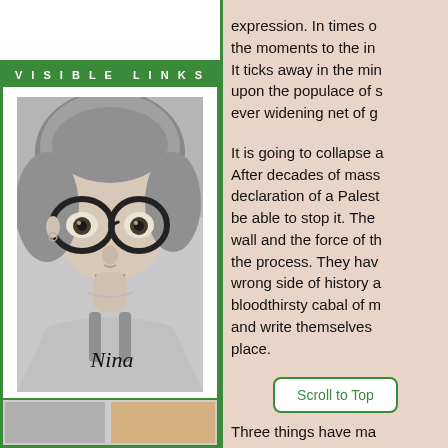VISIBLE LINKS
[Figure (photo): Black and white photograph of a young girl with large round glasses and light hair, with the handwritten name 'Nina' at the bottom]
expression. In times o the moments to the in It ticks away in the min upon the populace of s ever widening net of g
It is going to collapse a After decades of mass declaration of a Palest be able to stop it. The wall and the force of th the process. They hav wrong side of history a bloodthirsty cabal of m and write themselves place.
Scroll to Top
Three things have ma